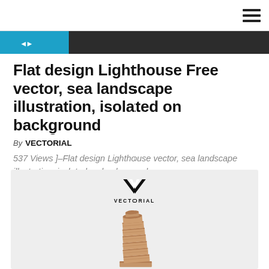Navigation bar with hamburger menu icon
[Figure (screenshot): Dark banner strip with blue section containing social/share icons on the right side of a navigation area]
Flat design Lighthouse Free vector, sea landscape illustration, isolated on background
By VECTORIAL
537 Views ]–Flat design Lighthouse vector, sea landscape illustration, isolated on background
[Figure (illustration): Gray background with Vectorial logo (V-shaped chevron icon and VECTORIAL text) at top, and below it a flat design illustration of the Leaning Tower of Pisa in brownish/tan colors]